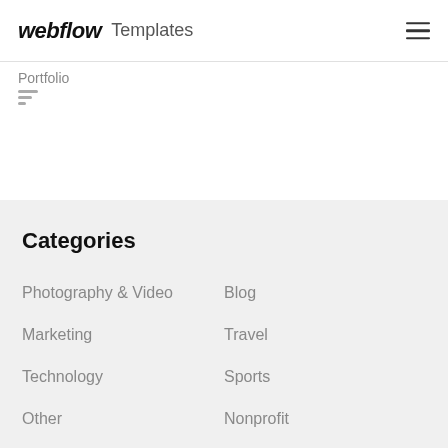webflow Templates
Portfolio
Categories
Photography & Video
Blog
Marketing
Travel
Technology
Sports
Other
Nonprofit